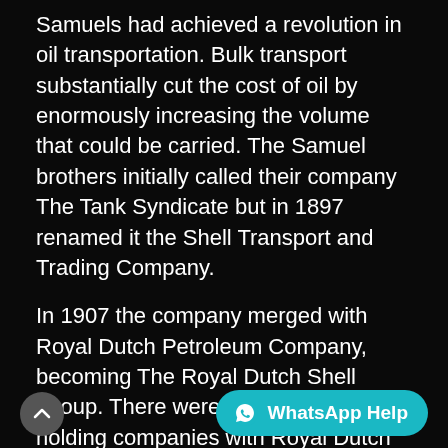Samuels had achieved a revolution in oil transportation. Bulk transport substantially cut the cost of oil by enormously increasing the volume that could be carried. The Samuel brothers initially called their company The Tank Syndicate but in 1897 renamed it the Shell Transport and Trading Company.
In 1907 the company merged with Royal Dutch Petroleum Company, becoming The Royal Dutch Shell Group. There were two separate holding companies with Royal Dutch taking 60% of earnings and Shell Transport taking 40%. The business was run by a variety of operating companies. The merger transformed the fortunes of both companies. Under the management of Henry Deterding they turned from struggling entities to successful enterprises within twelve months.
The Group rapidly expanded a... Marketing companies were formed throughout